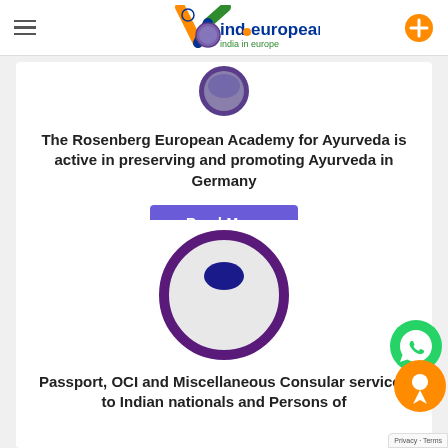indoeuropean.eu — india in europe
[Figure (logo): Indoeuropean.eu logo with stylized V in Indian flag colors and European stars, with circular globe image]
The Rosenberg European Academy for Ayurveda is active in preserving and promoting Ayurveda in Germany
Read More
[Figure (logo): Circular logo with purple ring border and dark blue oval dot on grey background]
Passport, OCI and Miscellaneous Consular services to Indian nationals and Persons of